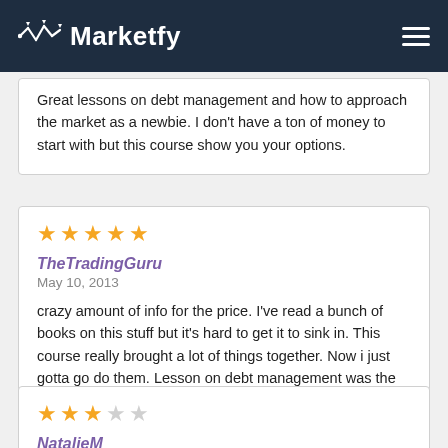Marketfy
Great lessons on debt management and how to approach the market as a newbie. I don't have a ton of money to start with but this course show you your options.
★★★★★
TheTradingGuru
May 10, 2013
crazy amount of info for the price. I've read a bunch of books on this stuff but it's hard to get it to sink in. This course really brought a lot of things together. Now i just gotta go do them. Lesson on debt management was the best.
★★★☆☆
NatalieM